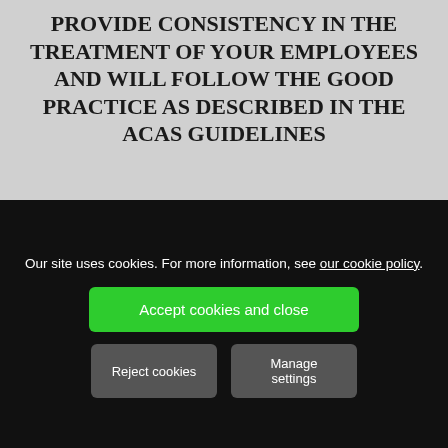PROVIDE CONSISTENCY IN THE TREATMENT OF YOUR EMPLOYEES AND WILL FOLLOW THE GOOD PRACTICE AS DESCRIBED IN THE ACAS GUIDELINES
Home
FAQs
About Us
Our World
Kind Words
Contact Us
Blog
Our site uses cookies. For more information, see our cookie policy.
Accept cookies and close
bina@plaintalkinghr.com
Reject cookies
Manage settings
01582 48610